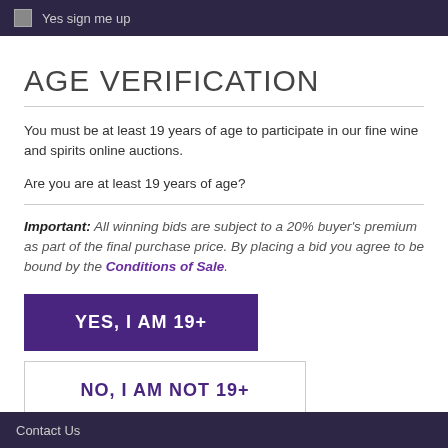Yes sign me up
AGE VERIFICATION
You must be at least 19 years of age to participate in our fine wine and spirits online auctions.
Are you are at least 19 years of age?
Important: All winning bids are subject to a 20% buyer's premium as part of the final purchase price. By placing a bid you agree to be bound by the Conditions of Sale.
YES, I AM 19+
NO, I AM NOT 19+
Contact Us